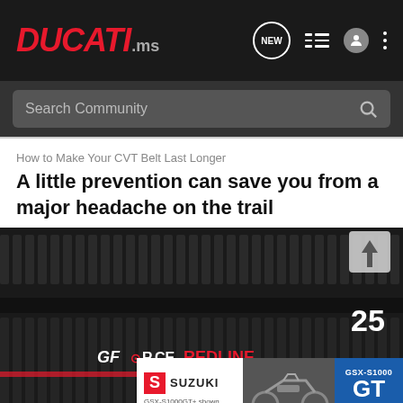DUCATI.ms
Search Community
How to Make Your CVT Belt Last Longer
A little prevention can save you from a major headache on the trail
[Figure (photo): Close-up photo of a GForce Redline CVT belt showing the ribbed texture and branding logo on a dark background]
[Figure (other): Suzuki GSX-S1000GT advertisement banner with motorcycle image and 'SEE IT NOW' call to action]